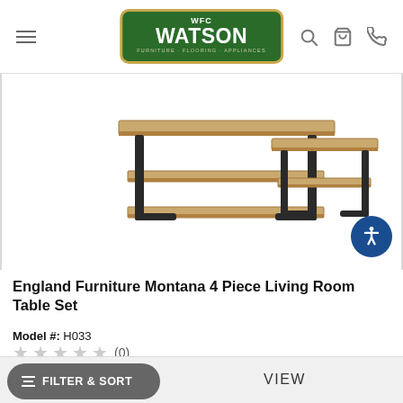WFC WATSON Furniture Flooring Appliances
[Figure (photo): England Furniture Montana 4 Piece Living Room Table Set product photo showing a media console table with two shelves and black metal legs, alongside a smaller matching end table with one shelf and black metal legs, in a light wood finish.]
England Furniture Montana 4 Piece Living Room Table Set
Model #: H033
★★★★★ (0)
Call for Best Price